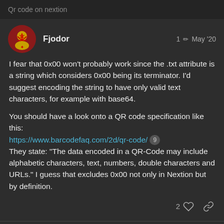Qr code on nextion
Fjodor   1 ✏  May '20
I fear that 0x00 won't probably work since the .txt attribute is a string which considers 0x00 being its terminator. I'd suggest encoding the string to have only valid text characters, for example with base64.
You should have a look onto a QR code specification like this:
https://www.barcodefaq.com/2d/qr-code/ 9
They state: "The data encoded in a QR-Code may include alphabetic characters, text, numbers, double characters and URLs." I guess that excludes 0x00 not only in Nextion but by definition.
2 ♡ 🔗
Ivan   2 / 6